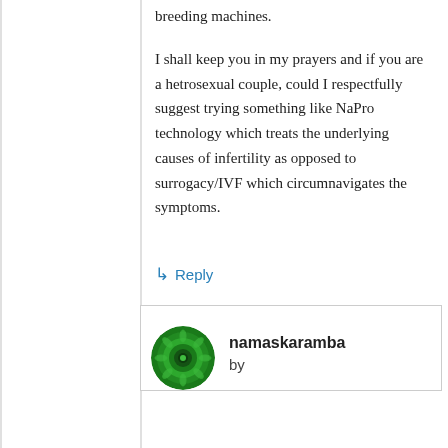breeding machines.
I shall keep you in my prayers and if you are a hetrosexual couple, could I respectfully suggest trying something like NaPro technology which treats the underlying causes of infertility as opposed to surrogacy/IVF which circumnavigates the symptoms.
↳ Reply
namaskaramba
by